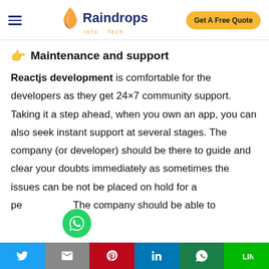Raindrops Info Tech — Get A Free Quote
👉  Maintenance and support
Reactjs development is comfortable for the developers as they get 24×7 community support. Taking it a step ahead, when you own an app, you can also seek instant support at several stages. The company (or developer) should be there to guide and clear your doubts immediately as sometimes the issues can be not be placed on hold for a period. The company should be able to